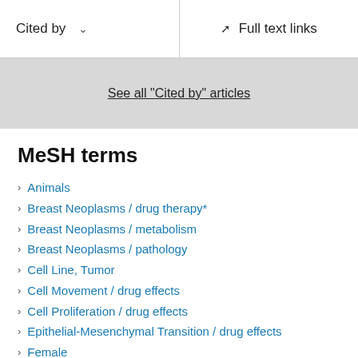Cited by | Full text links
See all "Cited by" articles
MeSH terms
Animals
Breast Neoplasms / drug therapy*
Breast Neoplasms / metabolism
Breast Neoplasms / pathology
Cell Line, Tumor
Cell Movement / drug effects
Cell Proliferation / drug effects
Epithelial-Mesenchymal Transition / drug effects
Female
Humans
MCF-7 Cells